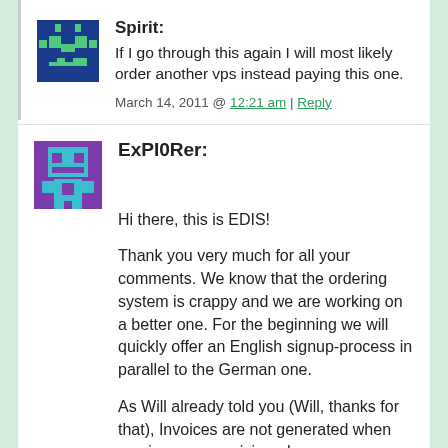[Figure (illustration): Pixel art avatar for user Spirit — dark blue/green square robot face on blue background]
Spirit: If I go through this again I will most likely order another vps instead paying this one.

March 14, 2011 @ 12:21 am | Reply
[Figure (illustration): Pixel art avatar for user ExPI0Rer — teal/cyan robot figure on purple background]
ExPI0Rer: Hi there, this is EDIS!

Thank you very much for all your comments. We know that the ordering system is crappy and we are working on a better one. For the beginning we will quickly offer an English signup-process in parallel to the German one.

As Will already told you (Will, thanks for that), Invoices are not generated when services are provisioned.